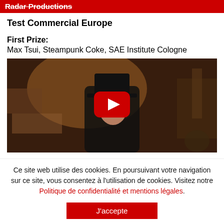Radar Productions
Test Commercial Europe
First Prize:
Max Tsui, Steampunk Coke, SAE Institute Cologne
[Figure (screenshot): Video thumbnail showing a man in a top hat and Victorian clothing in a steampunk setting, with a red YouTube play button overlay in the center.]
Ce site web utilise des cookies. En poursuivant votre navigation sur ce site, vous consentez à l'utilisation de cookies. Visitez notre Politique de confidentialité et mentions légales.
J'accepte